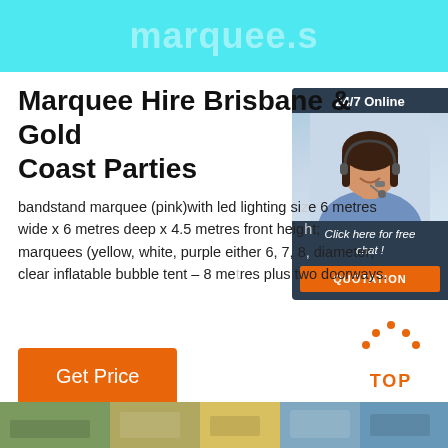[Figure (logo): Cyan/turquoise header banner with watermark-style logo text]
Marquee Hire Brisbane & Gold Coast Parties
bandstand marquee (pink)with led lighting size 6 metres wide x 6 metres deep x 4.5 metres front height; marquees (yellow, white, purple either 6, 7, 8, diameter; clear inflatable bubble tent – 8 metres plus two doorways.
[Figure (screenshot): 24/7 Online chat widget with agent photo, 'Click here for free chat!' text and orange QUOTATION button]
[Figure (other): Orange Get Price button]
[Figure (other): Back to TOP icon with orange dots and bold TOP text]
[Figure (photo): Bottom image strip showing outdoor marquee/event scenes]